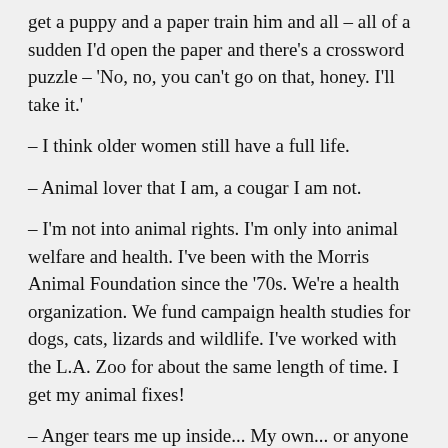get a puppy and a paper train him and all – all of a sudden I'd open the paper and there's a crossword puzzle – 'No, no, you can't go on that, honey. I'll take it.'
– I think older women still have a full life.
– Animal lover that I am, a cougar I am not.
– I'm not into animal rights. I'm only into animal welfare and health. I've been with the Morris Animal Foundation since the '70s. We're a health organization. We fund campaign health studies for dogs, cats, lizards and wildlife. I've worked with the L.A. Zoo for about the same length of time. I get my animal fixes!
– Anger tears me up inside... My own... or anyone else's.
– If you're walking with your lady on the sidewalk, I still like to see a man walking street-side, to protect the lady from traffic. I can agree with that, and I bet most